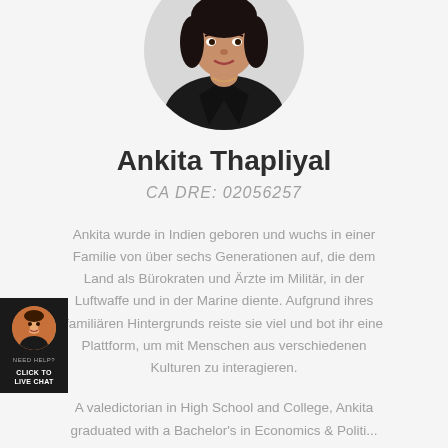[Figure (photo): Circular profile photo of Ankita Thapliyal, a woman with dark hair wearing a black leather jacket]
Ankita Thapliyal
CA DRE: 02056257
Ankita wurde in Indien geboren und wuchs in einer Familie von über sechs Generationen auf, die dem Land als Bürokraten und Ärzte im Militär, in der Luftwaffe und in der Marine diente. Aufgrund ihres familiären Hintergrunds reiste sie viel und bot ihr eine Plattform, um mit Menschen aus verschiedenen Kulturen zu interagieren.
A valedictorian in High School and College, Ankita graduated with a Bachelor's in Economics & Political...
[Figure (photo): Small live chat widget in the bottom left corner showing a woman's avatar with text NEED HELP? CLICK TO LIVE CHAT]